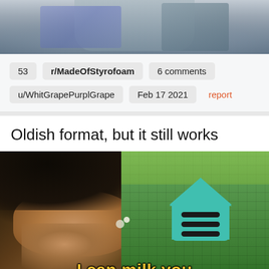[Figure (photo): Partial photo of a denim jacket and clothing items on a surface, cropped at top]
53
r/MadeOfStyrofoam
6 comments
u/WhitGrapePurplGrape
Feb 17 2021
report
Oldish format, but it still works
[Figure (photo): Meme image: left half shows a person's face (Markiplier-style), right half shows a Minecraft background with a teal Google Home-style house icon. Bottom text reads 'I can milk you']